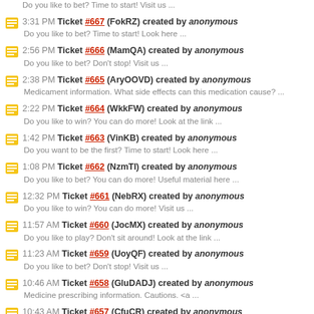Do you like to bet? Time to start! Visit us ...
3:31 PM Ticket #667 (FokRZ) created by anonymous
Do you like to bet? Time to start! Look here ...
2:56 PM Ticket #666 (MamQA) created by anonymous
Do you like to bet? Don't stop! Visit us ...
2:38 PM Ticket #665 (AryOOVD) created by anonymous
Medicament information. What side effects can this medication cause? ...
2:22 PM Ticket #664 (WkkFW) created by anonymous
Do you like to win? You can do more! Look at the link ...
1:42 PM Ticket #663 (VinKB) created by anonymous
Do you want to be the first? Time to start! Look here ...
1:08 PM Ticket #662 (NzmTI) created by anonymous
Do you like to bet? You can do more! Useful material here ...
12:32 PM Ticket #661 (NebRX) created by anonymous
Do you like to win? You can do more! Visit us ...
11:57 AM Ticket #660 (JocMX) created by anonymous
Do you like to play? Don't sit around! Look at the link ...
11:23 AM Ticket #659 (UoyQF) created by anonymous
Do you like to bet? Don't stop! Visit us ...
10:46 AM Ticket #658 (GluDADJ) created by anonymous
Medicine prescribing information. Cautions. <a ...
10:43 AM Ticket #657 (CfuCR) created by anonymous